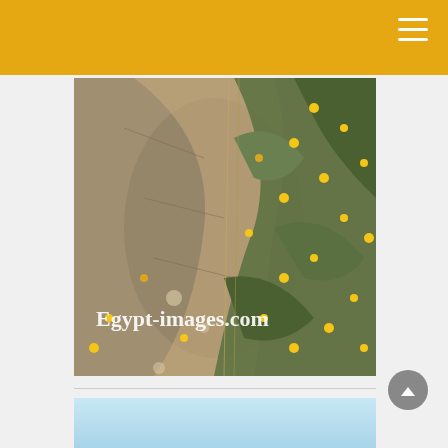[Figure (photo): Photograph of dry sandy ground with green grass and small yellow wildflowers scattered across it, with a watermark reading 'Egypt-images.com']
[Figure (photo): Partial view of a second photo with light blue sky or water background at the bottom of the page]